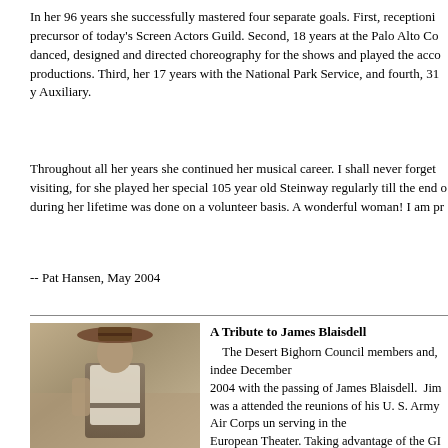In her 96 years she successfully mastered four separate goals. First, reception... precursor of today's Screen Actors Guild. Second, 18 years at the Palo Alto Co... danced, designed and directed choreography for the shows and played the acco... productions. Third, her 17 years with the National Park Service, and fourth, 31 y... Auxiliary.
Throughout all her years she continued her musical career. I shall never forget... visiting, for she played her special 105 year old Steinway regularly till the end o... during her lifetime was done on a volunteer basis. A wonderful woman! I am pr...
-- Pat Hansen, May 2004
[Figure (photo): Black and white photograph of James Blaisdell wearing a wide-brimmed hat and white shirt]
A Tribute to James Blaisdell
The Desert Bighorn Council members and, indeed December 2004 with the passing of James Blaisdell. Jim was a... attended the reunions of his U. S. Army Air Corps un... serving in the European Theater. Taking advantage of the GI Bill, J... management and began his career with the Californi... later gained employment with the Federal governme... While assigned to work at Grand Canyon Nationa... concern for bighorn sheep. He became a participant in the Dese... formative years. Jim served the Council on numerou...